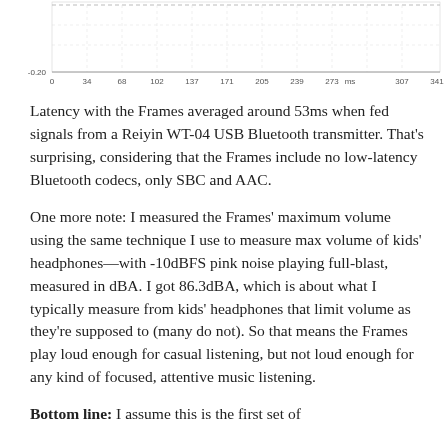[Figure (continuous-plot): A waveform/latency plot showing signal over time. Y-axis minimum label visible at -0.20. X-axis labels: 0, 34, 68, 102, 137, 171, 205, 239, 273 ms, 307, 341. The plot area shows a mostly flat line near the top with a dashed upper boundary and a grid of vertical and horizontal dashed lines.]
Latency with the Frames averaged around 53ms when fed signals from a Reiyin WT-04 USB Bluetooth transmitter. That's surprising, considering that the Frames include no low-latency Bluetooth codecs, only SBC and AAC.
One more note: I measured the Frames' maximum volume using the same technique I use to measure max volume of kids' headphones—with -10dBFS pink noise playing full-blast, measured in dBA. I got 86.3dBA, which is about what I typically measure from kids' headphones that limit volume as they're supposed to (many do not). So that means the Frames play loud enough for casual listening, but not loud enough for any kind of focused, attentive music listening.
Bottom line: I assume this is the first set of